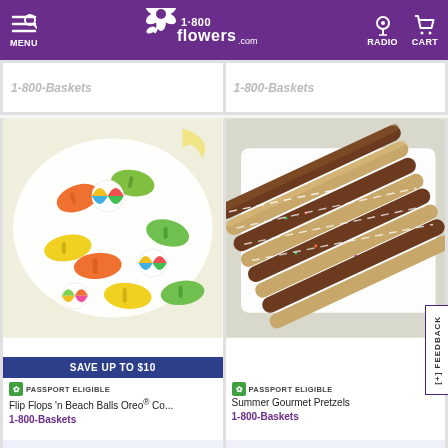MENU | 1-800-flowers.com | RADIO | CART
1-800-Baskets (top left partial)
1-800-Baskets (top right partial)
[Figure (photo): Flip flops and beach ball shaped Oreo cookies on a white tray with colorful decorations. Banner: SAVE UP TO $10]
[Figure (photo): Summer Gourmet Pretzels dipped in chocolate with sprinkles arranged on a white tray]
PASSPORT ELIGIBLE
Flip Flops 'n Beach Balls Oreo® Co...
1-800-Baskets
PASSPORT ELIGIBLE
Summer Gourmet Pretzels
1-800-Baskets
[Figure (photo): Bottom partial product image (left)]
[Figure (photo): Bottom partial product image (right) - appears to show blue and white packaging]